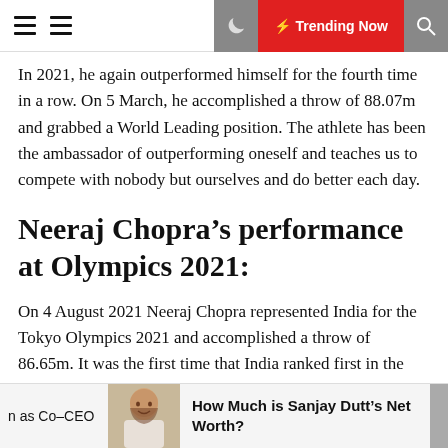Trending Now
In 2021, he again outperformed himself for the fourth time in a row. On 5 March, he accomplished a throw of 88.07m and grabbed a World Leading position. The athlete has been the ambassador of outperforming oneself and teaches us to compete with nobody but ourselves and do better each day.
Neeraj Chopra’s performance at Olympics 2021:
On 4 August 2021 Neeraj Chopra represented India for the Tokyo Olympics 2021 and accomplished a throw of 86.65m. It was the first time that India ranked first in the qualifying match in the Olympics. Neeraj accomplished this throw in group A in the Javelin throw qualification match.
n as Co-CEO | How Much is Sanjay Dutt’s Net Worth?